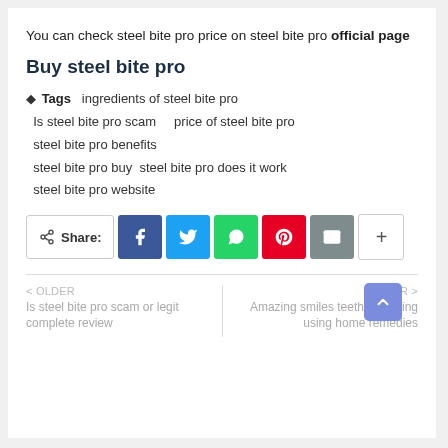You can check steel bite pro price on steel bite pro official page
Buy steel bite pro
Tags   ingredients of steel bite pro   Is steel bite pro scam   price of steel bite pro   steel bite pro benefits   steel bite pro buy steel bite pro does it work   steel bite pro website
[Figure (infographic): Share buttons row: Share label, Facebook, Twitter, WhatsApp, Pinterest, Email, and plus button]
< OLDER
Is steel bite pro scam or legit complete review   NEWER >
Amazing smiles teeth whitening using home remedies